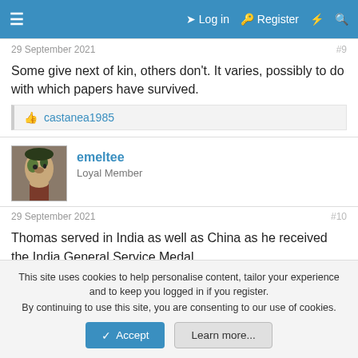≡  Log in  Register  ⚡  🔍
29 September 2021  #9
Some give next of kin, others don't. It varies, possibly to do with which papers have survived.
👍 castanea1985
emeltee
Loyal Member
29 September 2021  #10
Thomas served in India as well as China as he received the India General Service Medal.
This site uses cookies to help personalise content, tailor your experience and to keep you logged in if you register.
By continuing to use this site, you are consenting to our use of cookies.
Accept  Learn more...